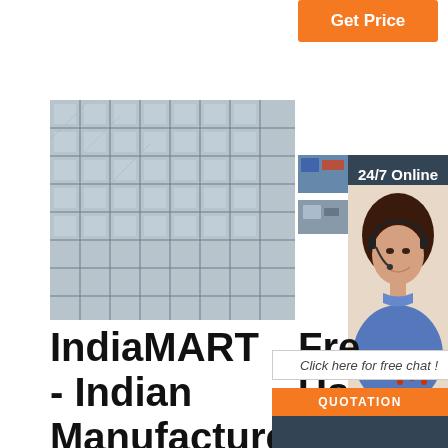[Figure (other): Orange 'Get Price' button in top right area]
[Figure (photo): Metal mesh/square tubes product image]
[Figure (screenshot): 24/7 Online widget with headset lady, click here for free chat and QUOTATION button, small product thumbnails]
IndiaMART - Indian Manufacturers Suppliers Exporters ...
Free Us Ma By Brands
Manuals and free owners